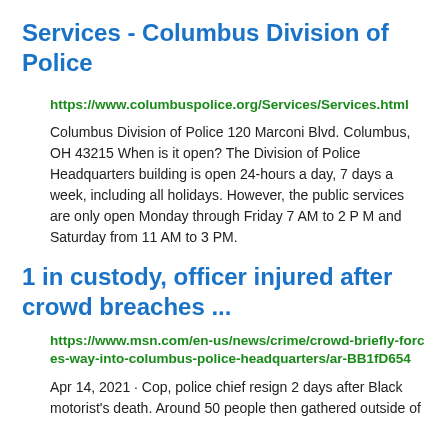Services - Columbus Division of Police
https://www.columbuspolice.org/Services/Services.html
Columbus Division of Police 120 Marconi Blvd. Columbus, OH 43215 When is it open? The Division of Police Headquarters building is open 24-hours a day, 7 days a week, including all holidays. However, the public services are only open Monday through Friday 7 AM to 2 P M and Saturday from 11 AM to 3 PM.
1 in custody, officer injured after crowd breaches ...
https://www.msn.com/en-us/news/crime/crowd-briefly-forces-way-into-columbus-police-headquarters/ar-BB1fD654
Apr 14, 2021 · Cop, police chief resign 2 days after Black motorist's death. Around 50 people then gathered outside of